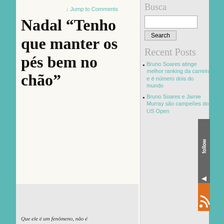↓ Jump to Comments
Nadal “Tenho que manter os pés bem no chão”
Busca
Recent Posts
Bruno Soares atinge melhor ranking da carreira e é número dois do mundo
Bruno Soares e Jamie Murray são campeões do US Open
Meta
Log in
Entries RSS
Comments RSS
WordPress
Que ele é um fenômeno, não é